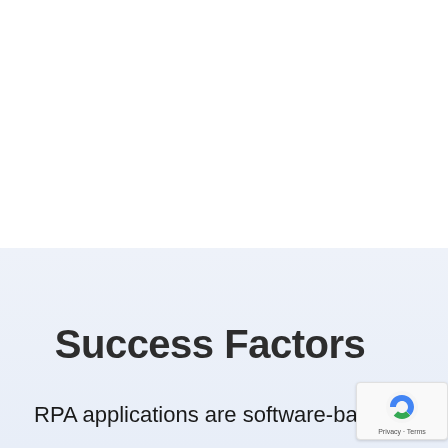Success Factors
RPA applications are software-based